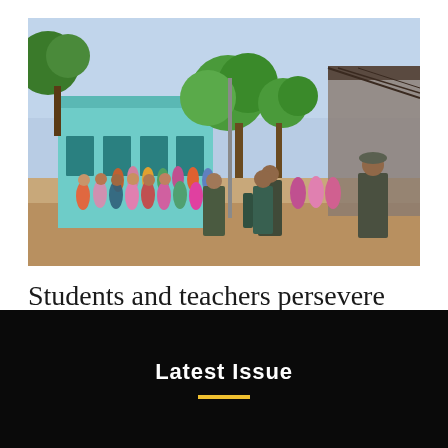[Figure (photo): Crowd of people gathered outside a light-blue school building with green trees in the background. Military/uniformed personnel visible in the foreground. Appears to be in Southeast Asia.]
Students and teachers persevere despite dangers and limited funds
Latest Issue